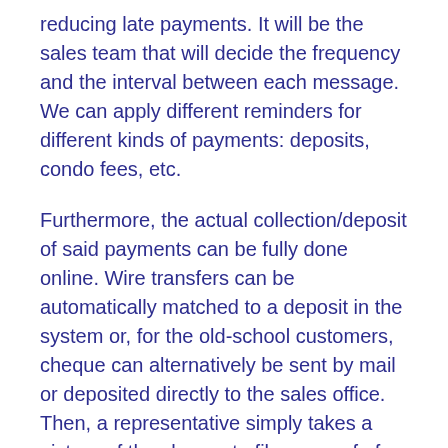reducing late payments. It will be the sales team that will decide the frequency and the interval between each message. We can apply different reminders for different kinds of payments: deposits, condo fees, etc.
Furthermore, the actual collection/deposit of said payments can be fully done online. Wire transfers can be automatically matched to a deposit in the system or, for the old-school customers, cheque can alternatively be sent by mail or deposited directly to the sales office. Then, a representative simply takes a picture of the cheque to file as proof of receipt and everything is sent to the head office for processing. All of this allows for rigorous monitoring of payments made or due, without ambiguity.